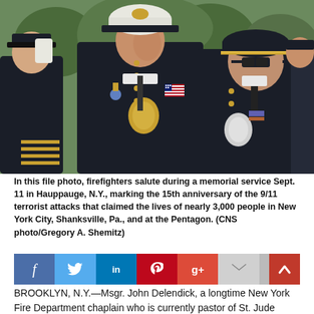[Figure (photo): Firefighters in dark dress uniforms saluting during a memorial service, with gold badges and American flag patches visible. The central figure wears a white officer's cap. Background shows trees and greenery.]
In this file photo, firefighters salute during a memorial service Sept. 11 in Hauppauge, N.Y., marking the 15th anniversary of the 9/11 terrorist attacks that claimed the lives of nearly 3,000 people in New York City, Shanksville, Pa., and at the Pentagon. (CNS photo/Gregory A. Shemitz)
[Figure (infographic): Social media sharing bar with icons for Facebook, Twitter, LinkedIn, Pinterest, Google+, email, and print. A red scroll-to-top button appears at bottom right.]
BROOKLYN, N.Y.—Msgr. John Delendick, a longtime New York Fire Department chaplain who is currently pastor of St. Jude